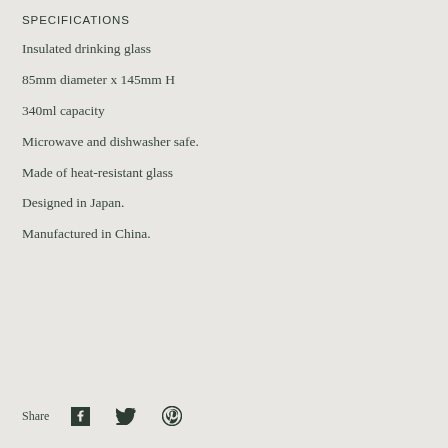SPECIFICATIONS
Insulated drinking glass
85mm diameter x 145mm H
340ml capacity
Microwave and dishwasher safe.
Made of heat-resistant glass
Designed in Japan.
Manufactured in China.
Share